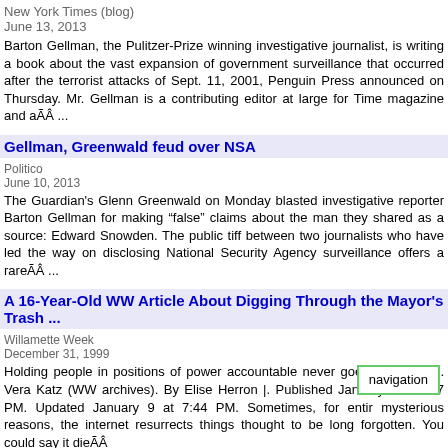New York Times (blog)
June 13, 2013
Barton Gellman, the Pulitzer-Prize winning investigative journalist, is writing a book about the vast expansion of government surveillance that occurred after the terrorist attacks of Sept. 11, 2001, Penguin Press announced on Thursday. Mr. Gellman is a contributing editor at large for Time magazine and aÃÂ ...
Gellman, Greenwald feud over NSA
Politico
June 10, 2013
The Guardian's Glenn Greenwald on Monday blasted investigative reporter Barton Gellman for making “false” claims about the man they shared as a source: Edward Snowden. The public tiff between two journalists who have led the way on disclosing National Security Agency surveillance offers a rareÃÂ ...
A 16-Year-Old WW Article About Digging Through the Mayor's Trash ...
Willamette Week
December 31, 1999
Holding people in positions of power accountable never goes out of style. Vera Katz (WW archives). By Elise Herron |. Published January 9 at 2:07 PM. Updated January 9 at 7:44 PM. Sometimes, for entir navigation mysterious reasons, the internet resurrects things thought to be long forgotten. You could say it dieÃÂ